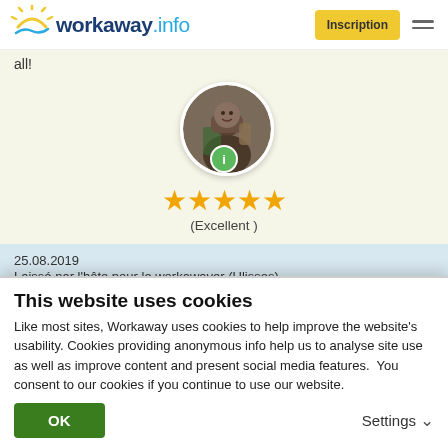workaway.info | Inscription
all!
[Figure (photo): Circular profile photo of a person with a backpack outdoors, with a green info badge overlay at the bottom center]
★★★★★ (Excellent )
25.08.2019
Laissé par l'hôte pour le workawayer (Ulisses)

Had a nice time with Ulisses. He is very helpful and willing once you show him what the expectations are. He helped...
This website uses cookies
Like most sites, Workaway uses cookies to help improve the website's usability. Cookies providing anonymous info help us to analyse site use as well as improve content and present social media features.  You consent to our cookies if you continue to use our website.
OK | Settings